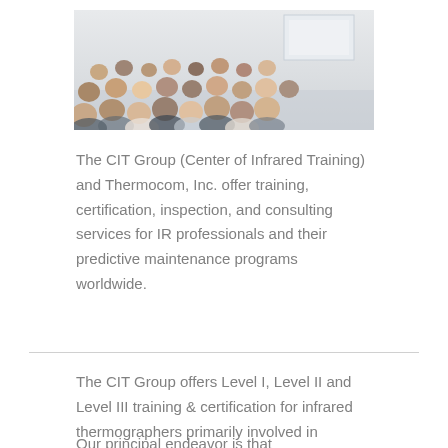[Figure (photo): Audience of students/attendees seated in a lecture or training room, viewed from behind, with a presenter/instructor visible at the front of the room.]
The CIT Group (Center of Infrared Training) and Thermocom, Inc. offer training, certification, inspection, and consulting services for IR professionals and their predictive maintenance programs worldwide.
The CIT Group offers Level I, Level II and Level III training & certification for infrared thermographers primarily involved in predictive maintenance.
Our principal endeavor is that